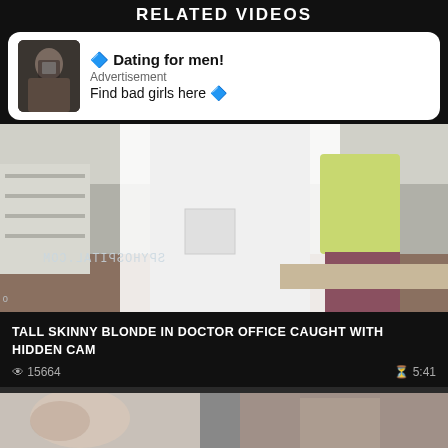RELATED VIDEOS
[Figure (screenshot): Advertisement banner with photo of a woman taking a selfie. Text: Dating for men! Advertisement Find bad girls here]
[Figure (screenshot): Video thumbnail showing a doctor in a white coat and a woman in a yellow sweater and floral skirt in a medical office. Watermark text (mirrored): SPYHOSPITAL.COM]
TALL SKINNY BLONDE IN DOCTOR OFFICE CAUGHT WITH HIDDEN CAM
👁 15664
⏱ 5:41
[Figure (screenshot): Partial video thumbnail showing two people]